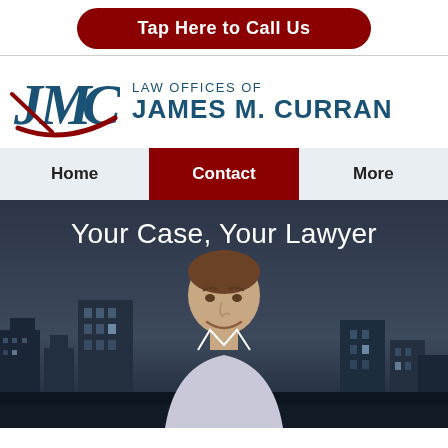Tap Here to Call Us
[Figure (logo): JMC law firm logo with red swoosh and teal letters, beside text LAW OFFICES OF JAMES M. CURRAN]
Home | Contact | More
Your Case, Your Lawyer
[Figure (photo): Professional headshot of attorney James M. Curran smiling in front of a city skyline background]